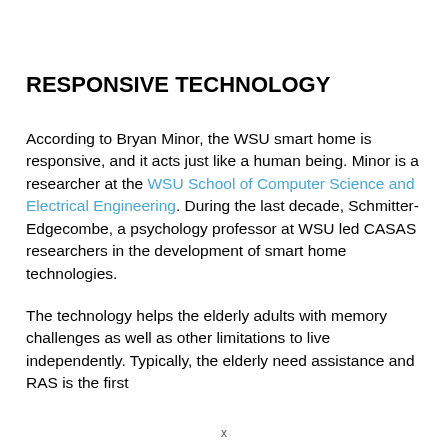RESPONSIVE TECHNOLOGY
According to Bryan Minor, the WSU smart home is responsive, and it acts just like a human being. Minor is a researcher at the WSU School of Computer Science and Electrical Engineering. During the last decade, Schmitter-Edgecombe, a psychology professor at WSU led CASAS researchers in the development of smart home technologies.
The technology helps the elderly adults with memory challenges as well as other limitations to live independently. Typically, the elderly need assistance and RAS is the first
x